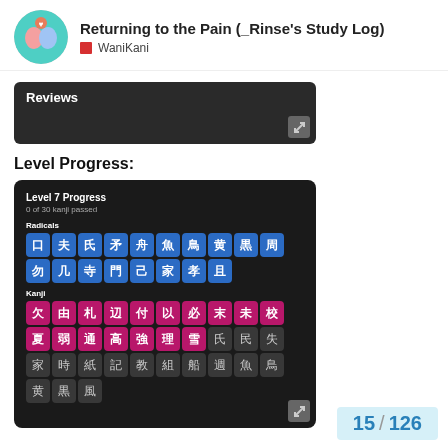Returning to the Pain (_Rinse's Study Log) — WaniKani
[Figure (screenshot): Dark screenshot strip showing 'Reviews' heading with expand button]
Level Progress:
[Figure (screenshot): Dark WaniKani 'Level 7 Progress' panel showing '0 of 30 kanji passed', Radicals grid with blue tiles (口夫氏矛舟魚鳥黄黒周勿几寺門己家孝且) and Kanji grid with pink tiles (欠由札辺付以必末未校夏弱通高強理雪氏民失家時紙記) and dark tiles (教組船週魚鳥黄黒風)]
15 / 126